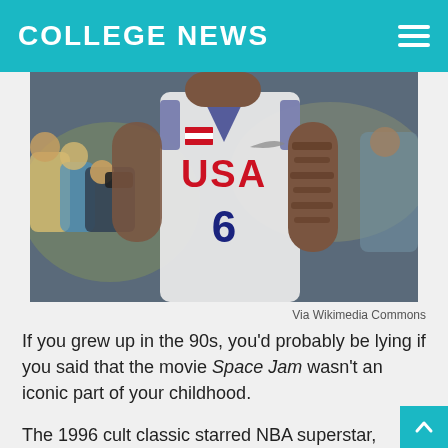COLLEGE NEWS
[Figure (photo): Basketball player wearing USA #6 jersey at a game, crowd with cameras in background]
Via Wikimedia Commons
If you grew up in the 90s, you'd probably be lying if you said that the movie Space Jam wasn't an iconic part of your childhood.
The 1996 cult classic starred NBA superstar, Michael Jordan, and the loveable cartoon cast of the Looney Tunes. Still the highest grossing